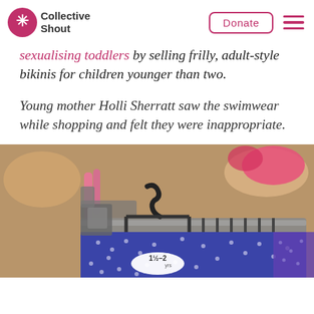Collective Shout | Donate
sexualising toddlers by selling frilly, adult-style bikinis for children younger than two.
Young mother Holli Sherratt saw the swimwear while shopping and felt they were inappropriate.
[Figure (photo): Photo of children's swimwear hanging on racks in a retail store. Blue polka-dot swimsuits visible. A size tag reads '1½–2yrs'. Pink items visible in background.]